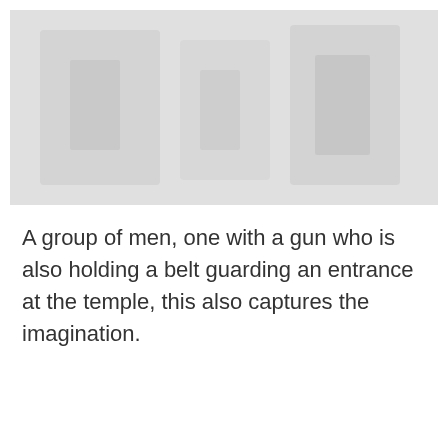[Figure (photo): A faded/washed out photograph showing a group of people, appears to be at a temple entrance. The image is very light and washed out, showing multiple figures.]
A group of men, one with a gun who is also holding a belt guarding an entrance at the temple, this also captures the imagination.